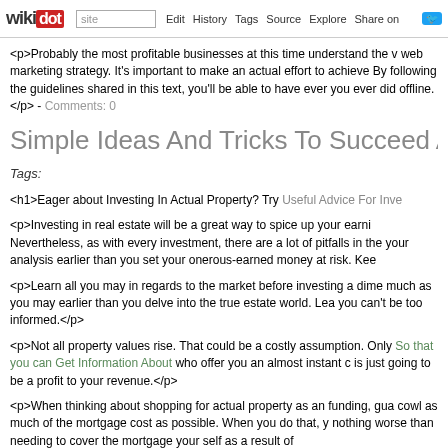wikidot | site | Edit | History | Tags | Source | Explore | Share on Twitter
<p>Probably the most profitable businesses at this time understand the v web marketing strategy. It's important to make an actual effort to achieve By following the guidelines shared in this text, you'll be able to have ever you ever did offline.</p> - Comments: 0
Simple Ideas And Tricks To Succeed At Investing
Tags:
<h1>Eager about Investing In Actual Property? Try Useful Advice For Inve
<p>Investing in real estate will be a great way to spice up your earni Nevertheless, as with every investment, there are a lot of pitfalls in the your analysis earlier than you set your onerous-earned money at risk. Kee
<p>Learn all you may in regards to the market before investing a dime much as you may earlier than you delve into the true estate world. Lea you can't be too informed.</p>
<p>Not all property values rise. That could be a costly assumption. Only So that you can Get Information About who offer you an almost instant c is just going to be a profit to your revenue.</p>
<p>When thinking about shopping for actual property as an funding, gua cowl as much of the mortgage cost as possible. When you do that, y nothing worse than needing to cover the mortgage your self as a result of
<p>Decide one core strategy and get good at it. Your decisions vary